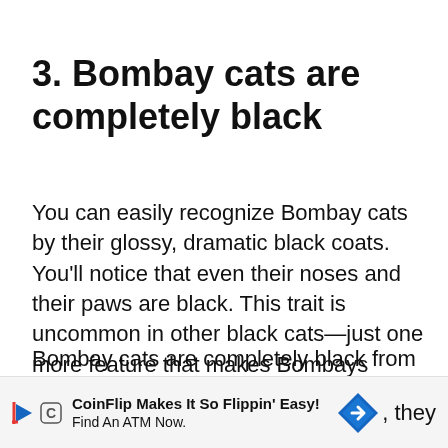3. Bombay cats are completely black
You can easily recognize Bombay cats by their glossy, dramatic black coats. You’ll notice that even their noses and their paws are black. This trait is uncommon in other black cats—just one more feature that makes Bombays stand out from the crowd.
Bombay cats are completely black from their ears to the pads on their paws. It’s easy for these cats to hide in dark places. When they emerge out of dark a[...] Bomb[...], they
[Figure (other): CoinFlip advertisement banner: 'CoinFlip Makes It So Flippin’ Easy! Find An ATM Now.' with play icon, C icon, and blue diamond arrow logo]